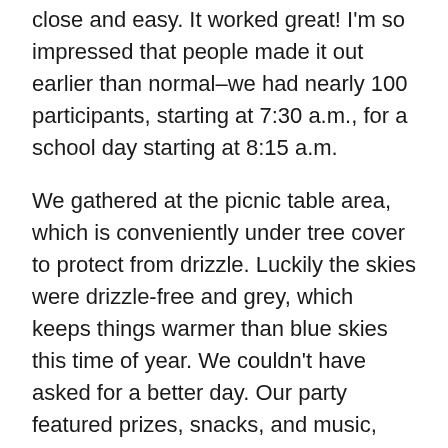close and easy. It worked great! I'm so impressed that people made it out earlier than normal–we had nearly 100 participants, starting at 7:30 a.m., for a school day starting at 8:15 a.m.
We gathered at the picnic table area, which is conveniently under tree cover to protect from drizzle. Luckily the skies were drizzle-free and grey, which keeps things warmer than blue skies this time of year. We couldn't have asked for a better day. Our party featured prizes, snacks, and music, then at 7:50 a.m. the 42 walking and scooter riding participants (and three dogs) set out for a 0.23-mile parade along the curving path through the park to the front door of the school. As soon as this first parade took a left towards the front of the building the biking contingent of 47 set out for a slightly longer pedaling parade around the back of the school to end up at the bike racks, utilizing the